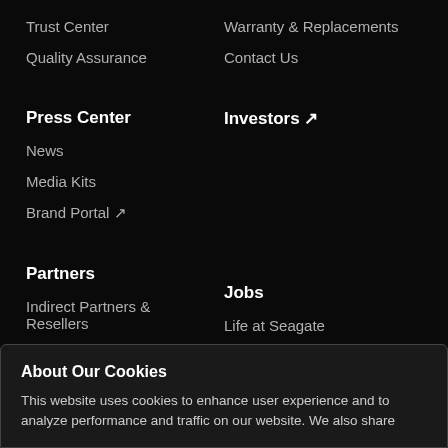Trust Center
Warranty & Replacements
Quality Assurance
Contact Us
Press Center
Investors ↗
News
Media Kits
Brand Portal ↗
Partners
Jobs
Indirect Partners & Resellers
Life at Seagate
About Our Cookies
This website uses cookies to enhance user experience and to analyze performance and traffic on our website. We also share